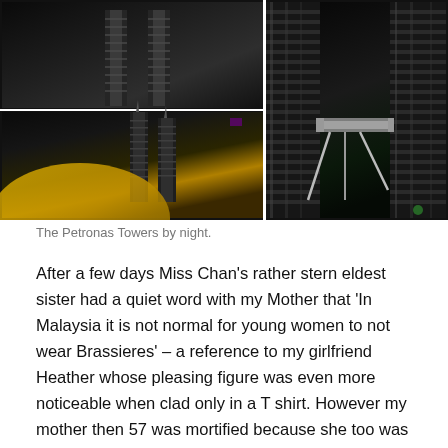[Figure (photo): Night photo collage of the Petronas Towers in Kuala Lumpur. Three photos arranged in a grid: top-left shows upper portion of the towers from below, bottom-left shows both towers with golden dome in foreground, right shows a close-up of the skybridge connecting the two towers.]
The Petronas Towers by night.
After a few days Miss Chan's rather stern eldest sister had a quiet word with my Mother that 'In Malaysia it is not normal for young women to not wear Brassieres' – a reference to my girlfriend Heather whose pleasing figure was even more noticeable when clad only in a T shirt. However my mother then 57 was mortified because she too was not wearing bra due to the heat although this was